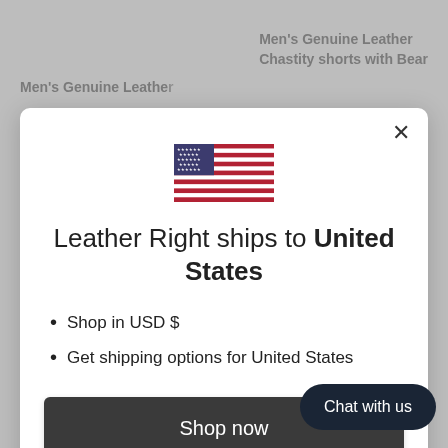Men's Genuine Leather
Chastity shorts with Bear
Men's Genuine Leathe
[Figure (screenshot): Modal dialog box on e-commerce website showing US flag, shipping country selection message, bullet points and shop now button]
Leather Right ships to United States
Shop in USD $
Get shipping options for United States
Shop now
Change shipping country
Chat with us
Sizing guide